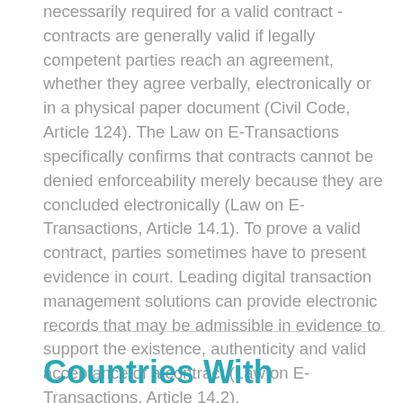necessarily required for a valid contract - contracts are generally valid if legally competent parties reach an agreement, whether they agree verbally, electronically or in a physical paper document (Civil Code, Article 124). The Law on E-Transactions specifically confirms that contracts cannot be denied enforceability merely because they are concluded electronically (Law on E-Transactions, Article 14.1). To prove a valid contract, parties sometimes have to present evidence in court. Leading digital transaction management solutions can provide electronic records that may be admissible in evidence to support the existence, authenticity and valid acceptance of a contract (Law on E-Transactions, Article 14.2).
Countries With